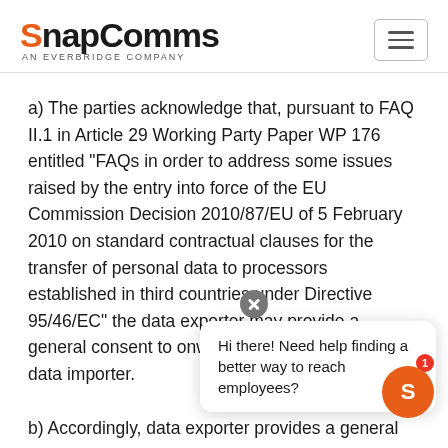SnapComms — AN EVERBRIDGE COMPANY
a) The parties acknowledge that, pursuant to FAQ II.1 in Article 29 Working Party Paper WP 176 entitled "FAQs in order to address some issues raised by the entry into force of the EU Commission Decision 2010/87/EU of 5 February 2010 on standard contractual clauses for the transfer of personal data to processors established in third countries under Directive 95/46/EC" the data exporter may provide a general consent to onward subprocessing by the data importer.
b) Accordingly, data exporter provides a general